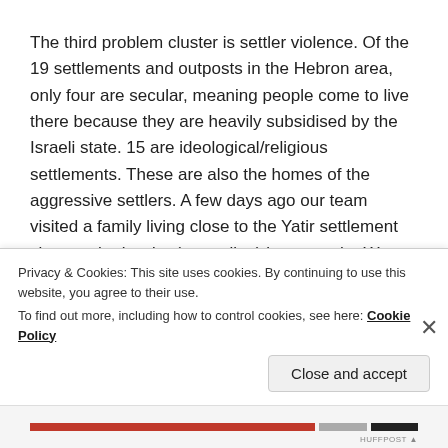The third problem cluster is settler violence. Of the 19 settlements and outposts in the Hebron area, only four are secular, meaning people come to live there because they are heavily subsidised by the Israeli state. 15 are ideological/religious settlements. These are also the homes of the aggressive settlers. A few days ago our team visited a family living close to the Yatir settlement close to the border (green line) between the West Bank and Israel. Their son Osama was hit in the head by one of the rocks thrown by the Yatir settlers during the night. Osama was sleeping outdoors and of course quite traumatised by…
Privacy & Cookies: This site uses cookies. By continuing to use this website, you agree to their use.
To find out more, including how to control cookies, see here: Cookie Policy
Close and accept